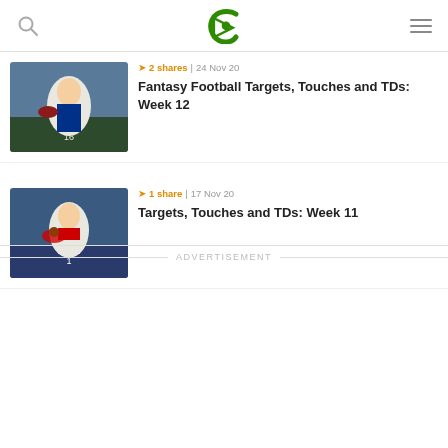Curved (logo) with search and menu icons
[Figure (photo): NFL quarterback in white Rams uniform throwing a pass, stadium background]
➤ 2 shares | 24 Nov 20
Fantasy Football Targets, Touches and TDs: Week 12
[Figure (photo): NFL quarterback in white Patriots uniform throwing a pass, stadium background]
➤ 1 share | 17 Nov 20
Targets, Touches and TDs: Week 11
ADVERTISEMENT